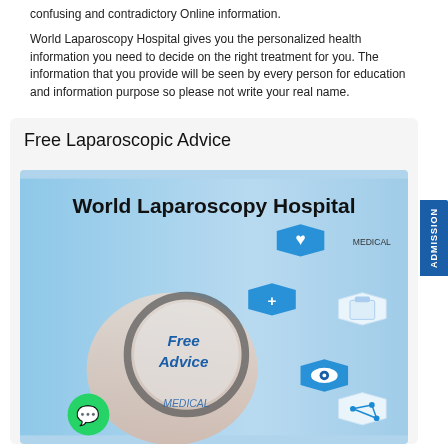confusing and contradictory Online information.

World Laparoscopy Hospital gives you the personalized health information you need to decide on the right treatment for you. The information that you provide will be seen by every person for education and information purpose so please not write your real name.
Free Laparoscopic Advice
[Figure (photo): Promotional image for World Laparoscopy Hospital Free Laparoscopic Advice. Shows a hand holding a stethoscope with a magnifying glass showing 'Free Advice', surrounded by blue hexagonal medical icons including a heart, clipboard, eye, and medical cross with lightbulb. Text 'MEDICAL' visible. WhatsApp green circle icon at bottom left. Blue and white color scheme.]